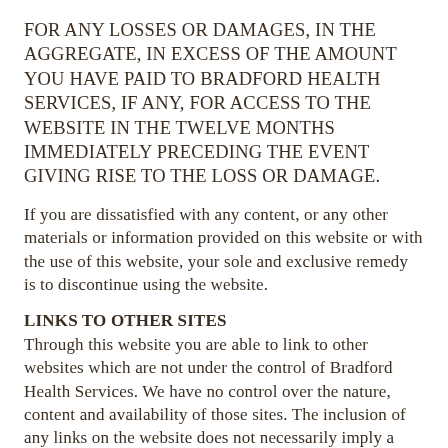FOR ANY LOSSES OR DAMAGES, IN THE AGGREGATE, IN EXCESS OF THE AMOUNT YOU HAVE PAID TO BRADFORD HEALTH SERVICES, IF ANY, FOR ACCESS TO THE WEBSITE IN THE TWELVE MONTHS IMMEDIATELY PRECEDING THE EVENT GIVING RISE TO THE LOSS OR DAMAGE.
If you are dissatisfied with any content, or any other materials or information provided on this website or with the use of this website, your sole and exclusive remedy is to discontinue using the website.
LINKS TO OTHER SITES
Through this website you are able to link to other websites which are not under the control of Bradford Health Services. We have no control over the nature, content and availability of those sites. The inclusion of any links on the website does not necessarily imply a recommendation or endorse the views expressed within